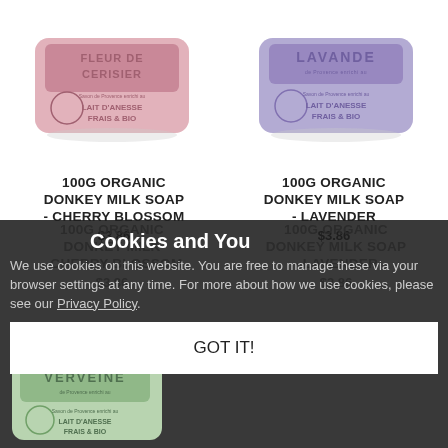[Figure (photo): Pink soap bar labeled FLEUR DE CERISIER, Savon de Provence enrichi au LAIT D'ANESSE FRAIS & BIO]
[Figure (photo): Lavender/purple soap bar labeled LAVANDE, Savon de Provence enrichi au LAIT D'ANESSE FRAIS & BIO]
100G ORGANIC DONKEY MILK SOAP - CHERRY BLOSSOM
100G ORGANIC DONKEY MILK SOAP - LAVENDER
$3.86
$3.86
Cookies and You
We use cookies on this website. You are free to manage these via your browser settings at any time. For more about how we use cookies, please see our Privacy Policy.
GOT IT!
[Figure (photo): Green soap bar labeled VERVEINE, Savon de Provence enrichi au LAIT D'ANESSE FRAIS & BIO (partially visible at bottom)]